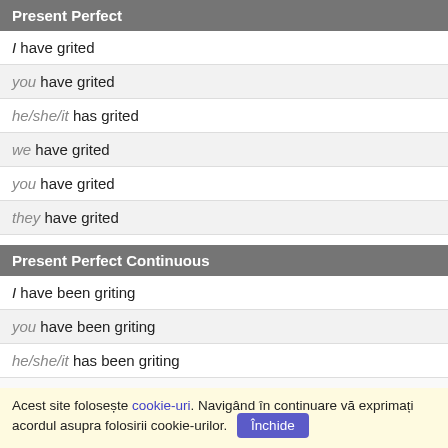Present Perfect
I have grited
you have grited
he/she/it has grited
we have grited
you have grited
they have grited
Present Perfect Continuous
I have been griting
you have been griting
he/she/it has been griting
we have been griting
you have been griting
Acest site folosește cookie-uri. Navigând în continuare vă exprimați acordul asupra folosirii cookie-urilor. Închide